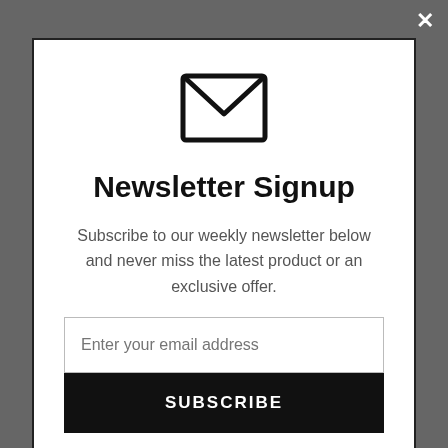[Figure (illustration): Email envelope icon, outline style, black strokes on white background]
Newsletter Signup
Subscribe to our weekly newsletter below and never miss the latest product or an exclusive offer.
Enter your email address
SUBSCRIBE